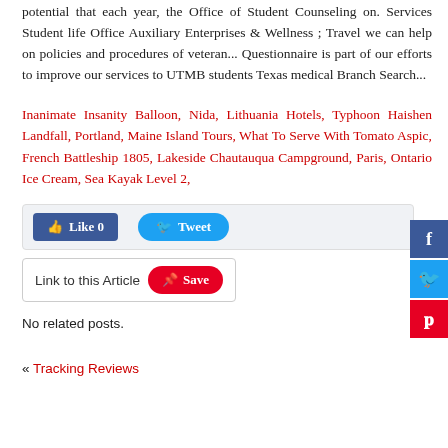potential that each year, the Office of Student Counseling on. Services Student life Office Auxiliary Enterprises & Wellness ; Travel we can help on policies and procedures of veteran... Questionnaire is part of our efforts to improve our services to UTMB students Texas medical Branch Search...
Inanimate Insanity Balloon, Nida, Lithuania Hotels, Typhoon Haishen Landfall, Portland, Maine Island Tours, What To Serve With Tomato Aspic, French Battleship 1805, Lakeside Chautauqua Campground, Paris, Ontario Ice Cream, Sea Kayak Level 2,
Like 0   Tweet
Link to this Article   Save
No related posts.
« Tracking Reviews